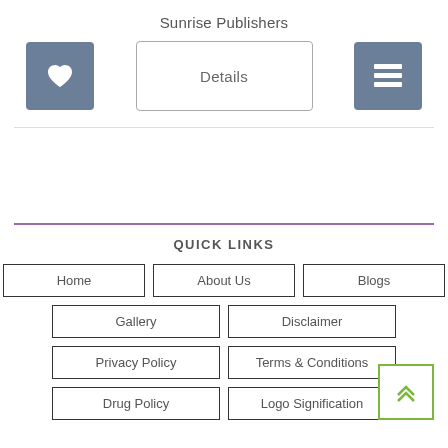Sunrise Publishers
[Figure (screenshot): Three buttons: a heart icon button (blue-grey), a 'Details' text button with border, and a list/menu icon button (blue-grey)]
QUICK LINKS
Home
About Us
Blogs
Gallery
Disclaimer
Privacy Policy
Terms & Conditions
Drug Policy
Logo Signification